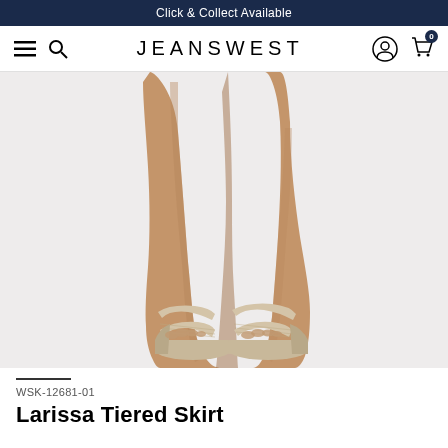Click & Collect Available
[Figure (screenshot): Jeanswest website navigation bar with hamburger menu, search icon, JEANSWEST brand name, user account icon, and shopping cart icon with 0 badge]
[Figure (photo): Close-up photo of a model's legs wearing beige/nude woven wedge sandals with ankle strap on a light grey background. The skirt hem is not visible, showing mainly legs and shoes from about knee level down.]
WSK-12681-01
Larissa Tiered Skirt